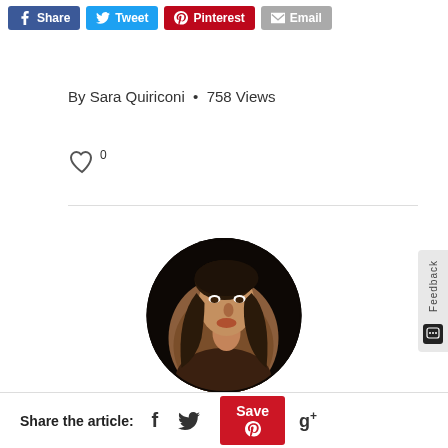[Figure (screenshot): Social share buttons row: Facebook Share (blue), Twitter Tweet (light blue), Pinterest (red), Email (grey)]
By Sara Quiriconi  •  758 Views
[Figure (illustration): Heart/like icon with count 0]
[Figure (photo): Circular author profile photo of Sara Quiriconi, a woman with long brown hair]
Sara Quiriconi
Share the article:
[Figure (screenshot): Bottom share bar with Facebook, Twitter, Pinterest Save, and Google+ icons]